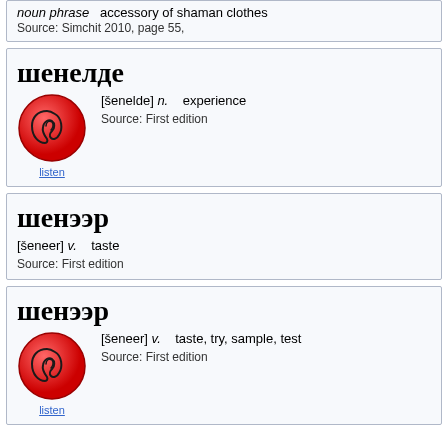noun phrase   accessory of shaman clothes
Source: Simchit 2010, page 55,
шенелде
[Figure (illustration): Red circular button with ear icon, labeled 'listen']
[šenelde] n.   experience
Source: First edition
шенээр
[šeneer] v.   taste
Source: First edition
шенээр
[Figure (illustration): Red circular button with ear icon, labeled 'listen']
[šeneer] v.   taste, try, sample, test
Source: First edition